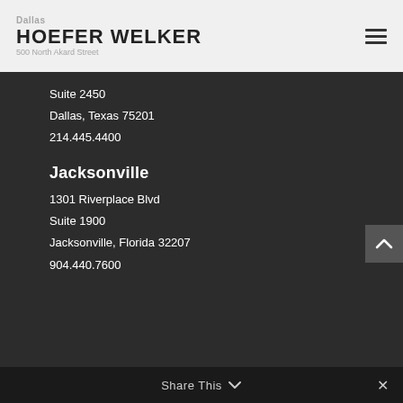HOEFER WELKER
Suite 2450
Dallas, Texas 75201
214.445.4400
Jacksonville
1301 Riverplace Blvd
Suite 1900
Jacksonville, Florida 32207
904.440.7600
Share This